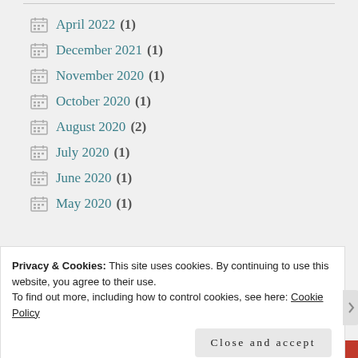April 2022 (1)
December 2021 (1)
November 2020 (1)
October 2020 (1)
August 2020 (2)
July 2020 (1)
June 2020 (1)
May 2020 (1)
Privacy & Cookies: This site uses cookies. By continuing to use this website, you agree to their use.
To find out more, including how to control cookies, see here: Cookie Policy
Close and accept